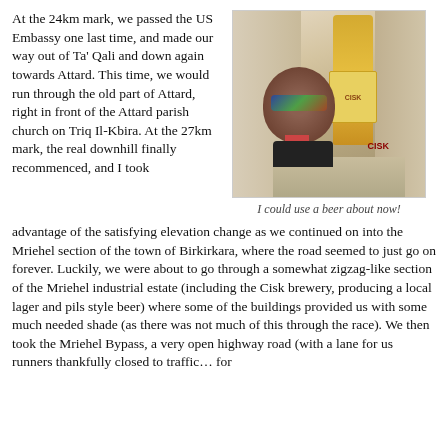At the 24km mark, we passed the US Embassy one last time, and made our way out of Ta' Qali and down again towards Attard. This time, we would run through the old part of Attard, right in front of the Attard parish church on Triq Il-Kbira.  At the 27km mark, the real downhill finally recommenced, and I took
[Figure (photo): A man making a funny face (tongue out, sunglasses) taking a selfie in front of a building with a large Cisk beer advertisement on it.]
I could use a beer about now!
advantage of the satisfying elevation change as we continued on into the Mriehel section of the town of Birkirkara, where the road seemed to just go on forever. Luckily, we were about to go through a somewhat zigzag-like section of the Mriehel industrial estate (including the Cisk brewery, producing a local lager and pils style beer) where some of the buildings provided us with some much needed shade (as there was not much of this through the race).  We then took the Mriehel Bypass, a very open highway road (with a lane for us runners thankfully closed to traffic… for